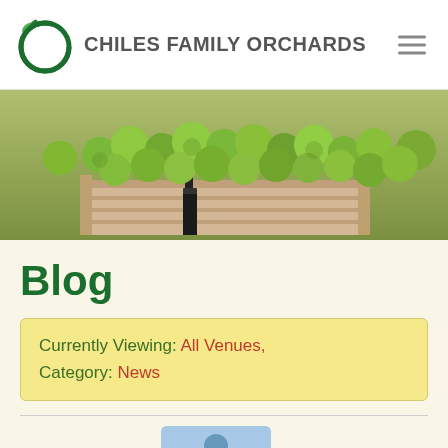CHILES FAMILY ORCHARDS
[Figure (photo): Wooden crates filled with green apples at a farm or market]
Blog
Currently Viewing: All Venues, Category: News
Prince Michel